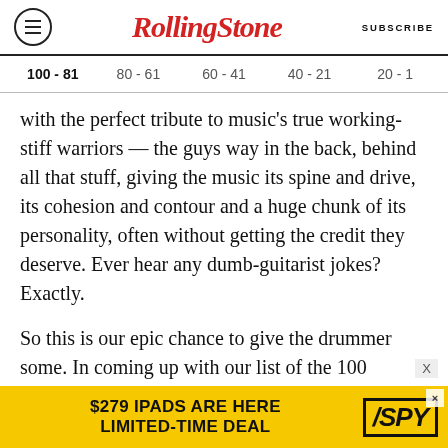RollingStone — SUBSCRIBE
100 - 81   80 - 61   60 - 41   40 - 21   20 - 1
with the perfect tribute to music's true working-stiff warriors — the guys way in the back, behind all that stuff, giving the music its spine and drive, its cohesion and contour and a huge chunk of its personality, often without getting the credit they deserve. Ever hear any dumb-guitarist jokes? Exactly.
So this is our epic chance to give the drummer some. In coming up with our list of the 100 Greatest Drummers of All Time, we valued
[Figure (screenshot): Advertisement banner: $279 IPADS ARE HERE LIMITED-TIME DEAL with SPY logo]